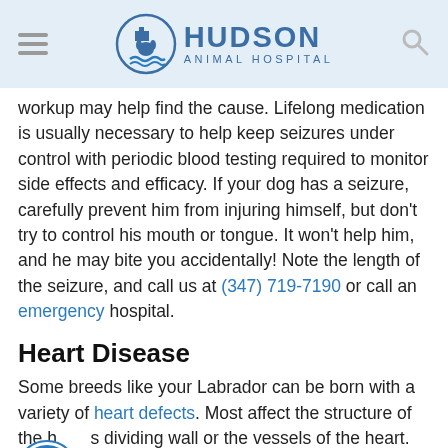HUDSON ANIMAL HOSPITAL
workup may help find the cause. Lifelong medication is usually necessary to help keep seizures under control with periodic blood testing required to monitor side effects and efficacy. If your dog has a seizure, carefully prevent him from injuring himself, but don't try to control his mouth or tongue. It won't help him, and he may bite you accidentally! Note the length of the seizure, and call us at (347) 719-7190 or call an emergency hospital.
Heart Disease
Some breeds like your Labrador can be born with a variety of heart defects. Most affect the structure of the heart's dividing wall or the vessels of the heart. Defects can also cause problems with heart valve function or